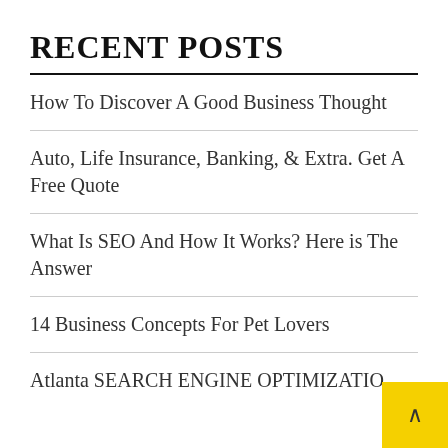RECENT POSTS
How To Discover A Good Business Thought
Auto, Life Insurance, Banking, & Extra. Get A Free Quote
What Is SEO And How It Works? Here is The Answer
14 Business Concepts For Pet Lovers
Atlanta SEARCH ENGINE OPTIMIZATIO...